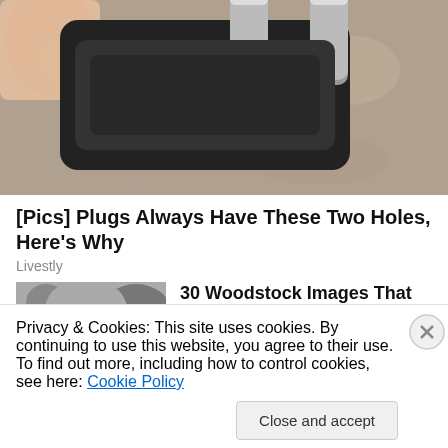[Figure (photo): Close-up photo of an electrical plug with two round metal pins held by fingers, on a gravel/stone background]
[Pics] Plugs Always Have These Two Holes, Here's Why
Livestly
[Figure (photo): Black and white photo of a young woman smiling, outdoors with foliage background, Woodstock-style]
30 Woodstock Images That Are Just Now Going Viral
Bon Voyaged
Privacy & Cookies: This site uses cookies. By continuing to use this website, you agree to their use.
To find out more, including how to control cookies, see here: Cookie Policy
Close and accept